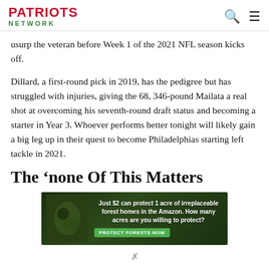PATRIOTS NETWORK
usurp the veteran before Week 1 of the 2021 NFL season kicks off.
Dillard, a first-round pick in 2019, has the pedigree but has struggled with injuries, giving the 68, 346-pound Mailata a real shot at overcoming his seventh-round draft status and becoming a starter in Year 3. Whoever performs better tonight will likely gain a big leg up in their quest to become Philadelphias starting left tackle in 2021.
The ‘none Of This Matters
[Figure (photo): Advertisement banner: Just $2 can protect 1 acre of irreplaceable forest homes in the Amazon. How many acres are you willing to protect? PROTECT FORESTS NOW]